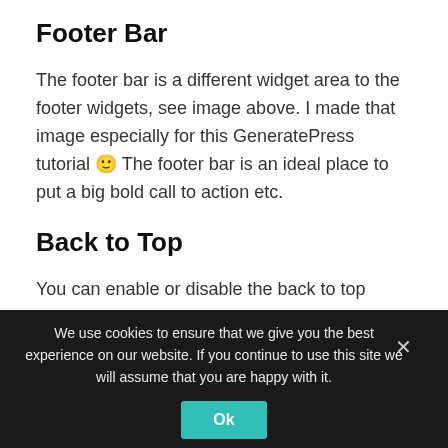Footer Bar
The footer bar is a different widget area to the footer widgets, see image above. I made that image especially for this GeneratePress tutorial 🙂 The footer bar is an ideal place to put a big bold call to action etc.
Back to Top
You can enable or disable the back to top button. It's up to you.
We use cookies to ensure that we give you the best experience on our website. If you continue to use this site we will assume that you are happy with it.